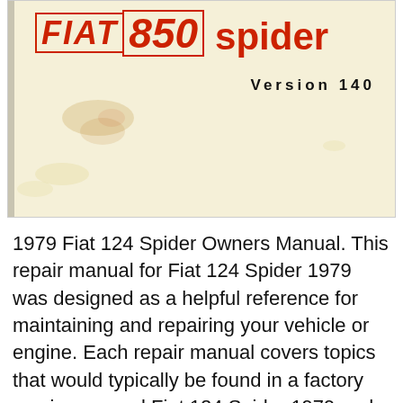[Figure (illustration): Fiat 850 Spider owners manual cover. Shows the FIAT logo in outlined red italic letters, '850' in outlined red italic letters, 'spider' in bold red, and 'Version 140' in bold black with letter spacing. Background is aged/yellowed paper.]
1979 Fiat 124 Spider Owners Manual. This repair manual for Fiat 124 Spider 1979 was designed as a helpful reference for maintaining and repairing your vehicle or engine. Each repair manual covers topics that would typically be found in a factory service manual Fiat 124 Spider 1979 and